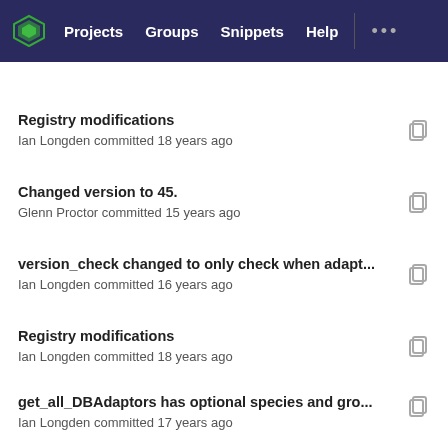Projects  Groups  Snippets  Help
Registry modifications
Ian Longden committed 18 years ago
Changed version to 45.
Glenn Proctor committed 15 years ago
version_check changed to only check when adapt...
Ian Longden committed 16 years ago
Registry modifications
Ian Longden committed 18 years ago
get_all_DBAdaptors has optional species and gro...
Ian Longden committed 17 years ago
POD and comment changes only. Some code in th...
Andreas Kusalapanda Kähäri committed 15 years ago